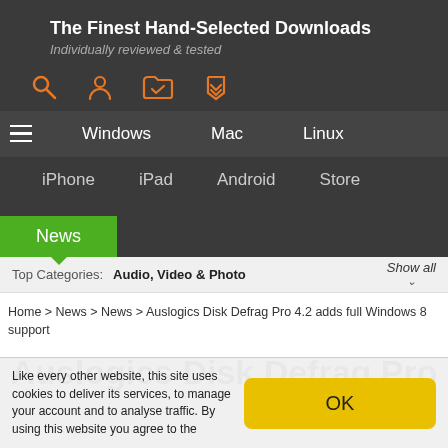The Finest Hand-Selected Downloads
Individually reviewed & tested
Windows  Mac  Linux
iPhone  iPad  Android  Store
News
Top Categories: Audio, Video & Photo  Show all
Home > News > News > Auslogics Disk Defrag Pro 4.2 adds full Windows 8 support
Auslogics Disk Defrag Pro
Like every other website, this site uses cookies to deliver its services, to manage your account and to analyse traffic. By using this website you agree to the